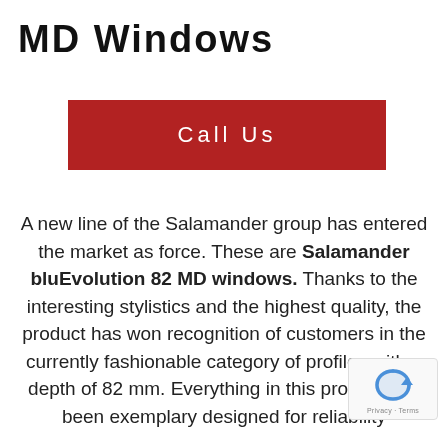MD Windows
Call Us
A new line of the Salamander group has entered the market as force. These are Salamander bluEvolution 82 MD windows. Thanks to the interesting stylistics and the highest quality, the product has won recognition of customers in the currently fashionable category of profiles with a depth of 82 mm. Everything in this product has been exemplary designed for reliability